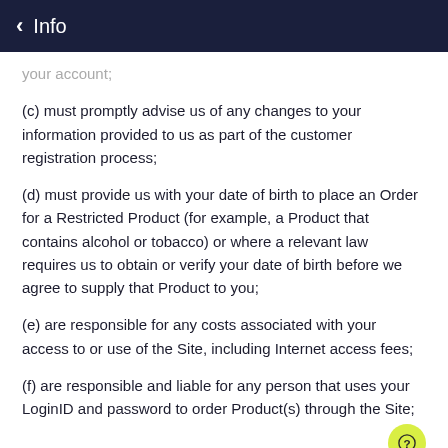Info
your account;
(c) must promptly advise us of any changes to your information provided to us as part of the customer registration process;
(d) must provide us with your date of birth to place an Order for a Restricted Product (for example, a Product that contains alcohol or tobacco) or where a relevant law requires us to obtain or verify your date of birth before we agree to supply that Product to you;
(e) are responsible for any costs associated with your access to or use of the Site, including Internet access fees;
(f) are responsible and liable for any person that uses your LoginID and password to order Product(s) through the Site;